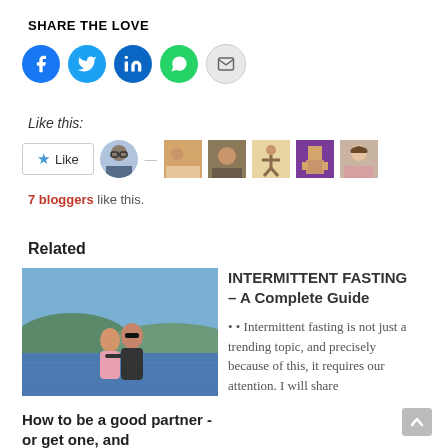SHARE THE LOVE
[Figure (infographic): Five social sharing icon buttons: Facebook (blue circle), Twitter (blue circle), LinkedIn (dark blue circle), WhatsApp (green circle), Email (grey circle with envelope icon)]
Like this:
[Figure (infographic): WordPress Like button with a blue star icon followed by multiple blogger avatar thumbnails]
7 bloggers like this.
Related
[Figure (photo): Photo of a couple standing by a waterfront with mountains in background]
How to be a good partner -or get one, and
INTERMITTENT FASTING – A Complete Guide
• • Intermittent fasting is not just a trending topic, and precisely because of this, it requires our attention. I will share